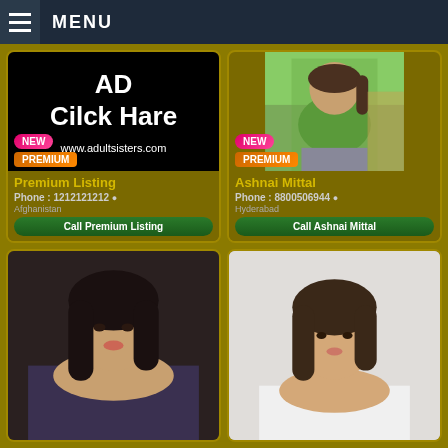MENU
[Figure (screenshot): Advertisement card with black background showing 'AD Cilck Hare' and 'www.adultsisters.com' text, with NEW and PREMIUM badges]
Premium Listing
Phone : 1212121212
Afghanistan
Call Premium Listing
[Figure (photo): Woman in green top photo with NEW and PREMIUM badges]
Ashnai Mittal
Phone : 8800506944
Hyderabad
Call Ashnai Mittal
[Figure (photo): Dark haired woman photo (bottom left card)]
[Figure (photo): Asian woman photo (bottom right card)]